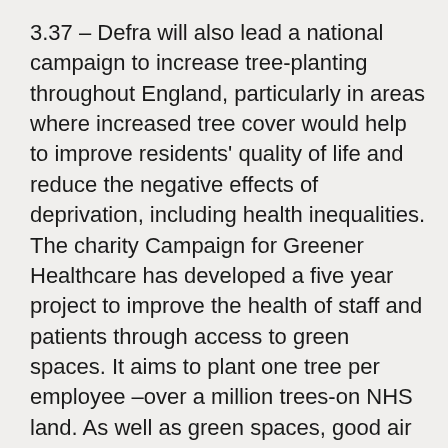3.37 – Defra will also lead a national campaign to increase tree-planting throughout England, particularly in areas where increased tree cover would help to improve residents' quality of life and reduce the negative effects of deprivation, including health inequalities. The charity Campaign for Greener Healthcare has developed a five year project to improve the health of staff and patients through access to green spaces. It aims to plant one tree per employee –over a million trees-on NHS land. As well as green spaces, good air quality and reducing noise pollution are important issues for public health and wellbeing. Defra will publish information about local air quality and noise levels, empowering local government